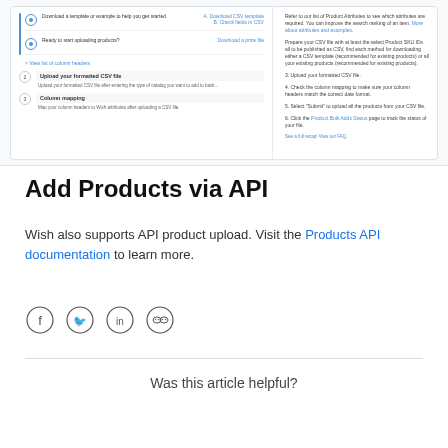[Figure (screenshot): Screenshot of a product upload CSV interface showing steps for downloading CSV template, uploading formatted CSV file, and column mapping, with a side panel showing numbered instructions.]
Add Products via API
Wish also supports API product upload. Visit the Products API documentation to learn more.
[Figure (illustration): Row of four social media sharing icons: Facebook, Twitter, LinkedIn, and WeChat, each in a circle outline.]
Was this article helpful?